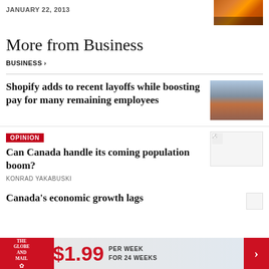JANUARY 22, 2013
[Figure (photo): Sunset/silhouette outdoor photo]
More from Business
BUSINESS >
Shopify adds to recent layoffs while boosting pay for many remaining employees
[Figure (photo): Group of people in a meeting]
OPINION
[Figure (photo): Placeholder image thumbnail]
Can Canada handle its coming population boom?
KONRAD YAKABUSKI
Canada's economic growth lags
[Figure (photo): Small placeholder thumbnail]
$1.99 PER WEEK FOR 24 WEEKS